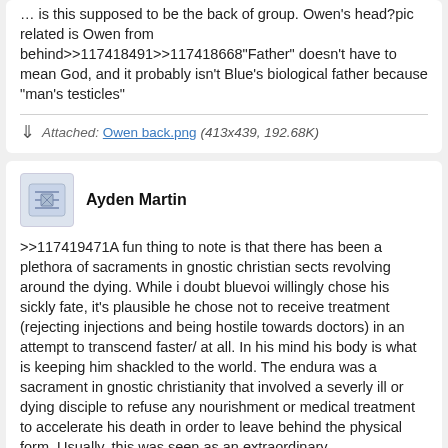Owen's head?pic related is Owen from behind>>117418491>>117418668"Father" doesn't have to mean God, and it probably isn't Blue's biological father because "man's testicles"
Attached: Owen back.png (413x439, 192.68K)
Ayden Martin
>>117419471A fun thing to note is that there has been a plethora of sacraments in gnostic christian sects revolving around the dying. While i doubt bluevoi willingly chose his sickly fate, it's plausible he chose not to receive treatment (rejecting injections and being hostile towards doctors) in an attempt to transcend faster/ at all. In his mind his body is what is keeping him shackled to the world. The endura was a sacrament in gnostic christianity that involved a severly ill or dying disciple to refuse any nourishment or medical treatment to accelerate his death in order to leave behind the physical form. Usually, this was seen as an extraordinary challenge in of faith that also made himself or fair...